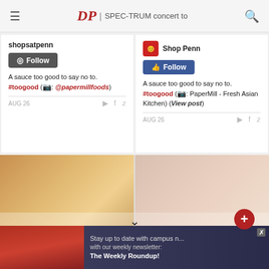DP | SPEC-TRUM concert to
shopsatpenn
Follow
A sauce too good to say no to. #toogood (📷: @papermillfoods)
AUG 26
Shop Penn
Follow
A sauce too good to say no to. #toogood (📷: PaperMill - Fresh Asian Kitchen) (View post)
AUG 26
[Figure (photo): Food photo on left, interior/curtain photo on right]
Comments powered by Disqus
Please note All comments are eligible for
[Figure (photo): Advertisement banner with campus photo and newsletter signup]